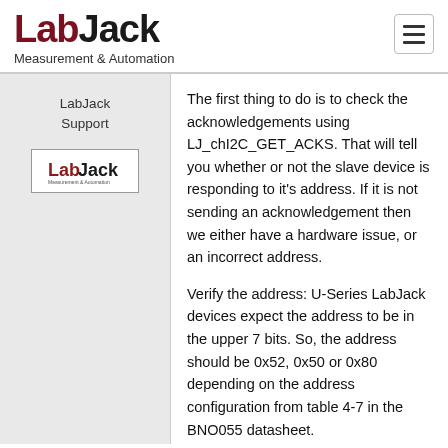LabJack Measurement & Automation
LabJack Support
[Figure (logo): LabJack logo in a bordered box]
The first thing to do is to check the acknowledgements using LJ_chI2C_GET_ACKS. That will tell you whether or not the slave device is responding to it's address. If it is not sending an acknowledgement then we either have a hardware issue, or an incorrect address.
Verify the address: U-Series LabJack devices expect the address to be in the upper 7 bits. So, the address should be 0x52, 0x50 or 0x80 depending on the address configuration from table 4-7 in the BNO055 datasheet.
Our I2C appnote is a good place